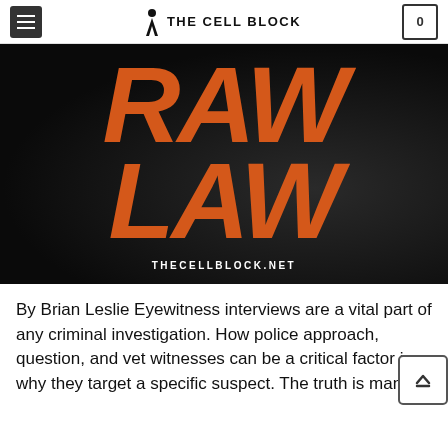THE CELL BLOCK
[Figure (illustration): Book cover for 'RAW LAW' by The Cell Block. Dark/black background with large bold orange italic text reading 'RAW LAW' and the URL 'THECELLBLOCK.NET' in white at the bottom.]
By Brian Leslie Eyewitness interviews are a vital part of any criminal investigation. How police approach, question, and vet witnesses can be a critical factor in why they target a specific suspect. The truth is many